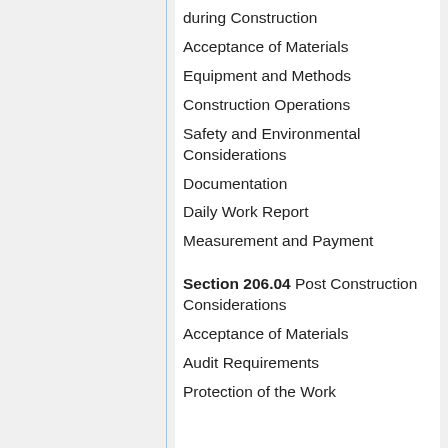during Construction
Acceptance of Materials
Equipment and Methods
Construction Operations
Safety and Environmental Considerations
Documentation
Daily Work Report
Measurement and Payment
Section 206.04 Post Construction Considerations
Acceptance of Materials
Audit Requirements
Protection of the Work